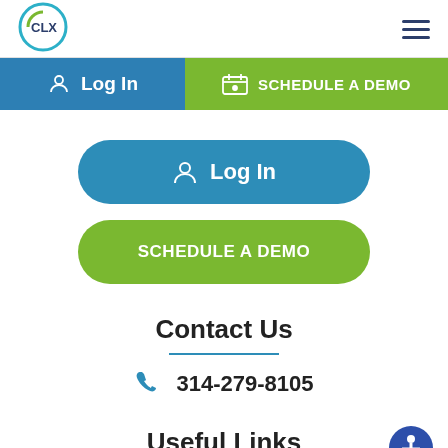[Figure (logo): CLX logo - circular icon with CLX text in teal/blue]
[Figure (other): Hamburger menu icon (three horizontal lines)]
Log In
SCHEDULE A DEMO
Log In
SCHEDULE A DEMO
Contact Us
314-279-8105
Useful Links
[Figure (other): Accessibility icon button - blue circle with person/wheelchair accessibility symbol]